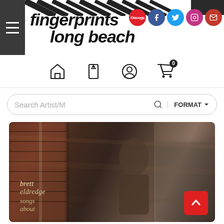fingerprints long beach
[Figure (screenshot): Website screenshot of Fingerprints Long Beach music store. Header shows the store logo with zebra-striped graphic, social media icons (Discogs, Facebook, Twitter, Instagram, Email), navigation icons (home, bookmark, account, shopping cart with 0 items), and a search bar with FORMAT dropdown. Below is a promotional banner image for Brett Eldredge's album 'Songs About' showing the artist in a blurred urban alleyway setting wearing a brown jacket. A red scroll-to-top button is visible in the lower right.]